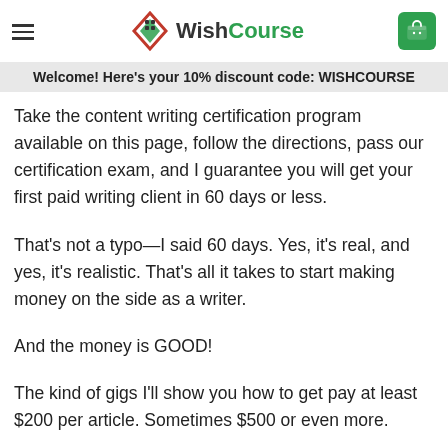WishCourse
So let's not waste time and the hush. This is my promise to you.
Welcome! Here's your 10% discount code: WISHCOURSE
Take the content writing certification program available on this page, follow the directions, pass our certification exam, and I guarantee you will get your first paid writing client in 60 days or less.
That's not a typo—I said 60 days. Yes, it's real, and yes, it's realistic. That's all it takes to start making money on the side as a writer.
And the money is GOOD!
The kind of gigs I'll show you how to get pay at least $200 per article. Sometimes $500 or even more.
That kind of money can really add up, especially when you